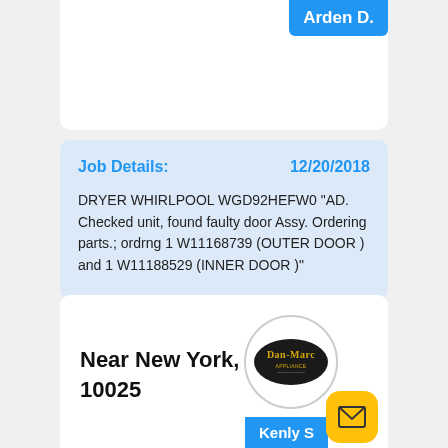Arden D.
Job Details:
12/20/2018
DRYER WHIRLPOOL WGD92HEFW0 "AD. Checked unit, found faulty door Assy. Ordering parts.; ordrng 1 W11168739 (OUTER DOOR ) and 1 W11188529 (INNER DOOR )"
Near New York, NY 10025
[Figure (logo): Dan-Marc Appliance logo — oval black background with gold text]
Kenly S